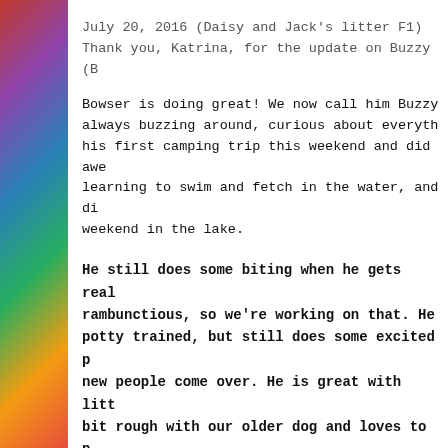[Figure (photo): Colorful blurred photo strip on the left side of the page, showing vibrant rainbow-like colors (red, purple, blue, green, orange).]
July 20, 2016 (Daisy and Jack's litter F1)
Thank you, Katrina, for the update on Buzzy (B
Bowser is doing great! We now call him Buzzy always buzzing around, curious about everything his first camping trip this weekend and did awe learning to swim and fetch in the water, and di weekend in the lake.
He still does some biting when he gets real rambunctious, so we're working on that. He potty trained, but still does some excited p new people come over. He is great with litt bit rough with our older dog and loves to p